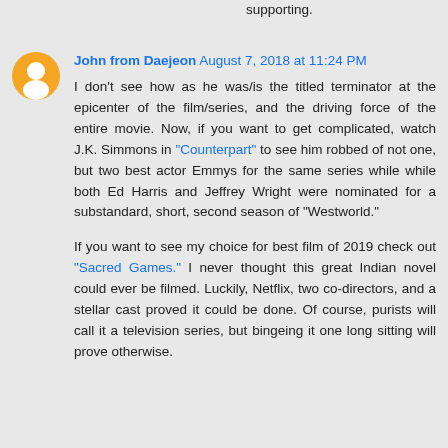supporting.
[Figure (illustration): Orange circular avatar icon with white blogger/person silhouette]
John from Daejeon August 7, 2018 at 11:24 PM
I don't see how as he was/is the titled terminator at the epicenter of the film/series, and the driving force of the entire movie. Now, if you want to get complicated, watch J.K. Simmons in "Counterpart" to see him robbed of not one, but two best actor Emmys for the same series while while both Ed Harris and Jeffrey Wright were nominated for a substandard, short, second season of "Westworld."

If you want to see my choice for best film of 2019 check out "Sacred Games." I never thought this great Indian novel could ever be filmed. Luckily, Netflix, two co-directors, and a stellar cast proved it could be done. Of course, purists will call it a television series, but bingeing it one long sitting will prove otherwise.